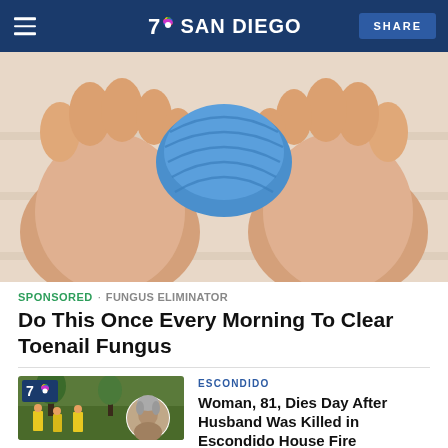NBC 7 SAN DIEGO | SHARE
[Figure (photo): Close-up photo of two human feet with blue wrap/bandage between the toes, viewed from above on a light wooden surface]
SPONSORED · FUNGUS ELIMINATOR
Do This Once Every Morning To Clear Toenail Fungus
[Figure (photo): Thumbnail image showing firefighters in yellow gear near trees with NBC 7 logo overlay, and circular inset portrait of an elderly woman]
ESCONDIDO
Woman, 81, Dies Day After Husband Was Killed in Escondido House Fire